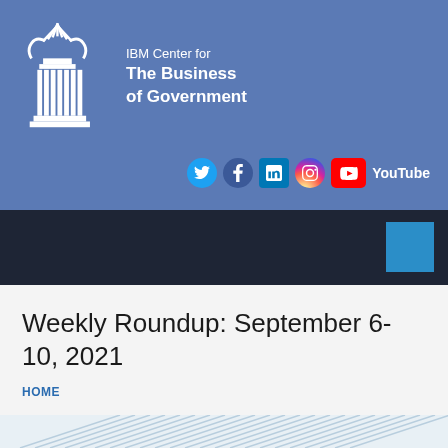[Figure (logo): IBM Center for The Business of Government logo with white column icon and text on blue banner, with Twitter, Facebook, LinkedIn, Instagram, and YouTube social media icons]
Weekly Roundup: September 6-10, 2021
HOME
[Figure (illustration): Partial decorative image visible at the bottom of the page with light blue geometric/wave pattern]